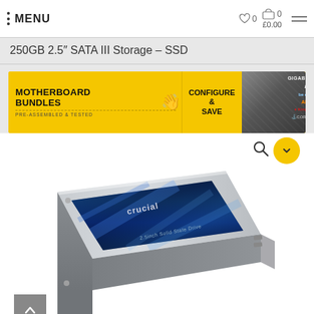MENU | ♡ 0  🛒 0  £0.00
250GB 2.5" SATA III Storage – SSD
[Figure (screenshot): Motherboard Bundles advertisement banner: yellow background with text 'MOTHERBOARD BUNDLES', 'CONFIGURE & SAVE', 'PRE-ASSEMBLED & TESTED', with brand logos (GIGABYTE, intel, be quiet!, AMD, Kingston, Corsair) and a photo of computer hardware on the right side]
[Figure (photo): Crucial MX500 2.5-inch SATA SSD in silver/aluminium casing with dark blue label showing 'crucial' branding and '2.5inch Solid State Drive' text, photographed at an angle showing the top and side of the drive]